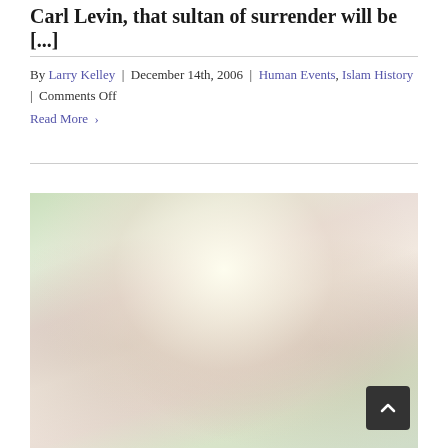Carl Levin, that sultan of surrender will be [...]
By Larry Kelley | December 14th, 2006 | Human Events, Islam History | Comments Off
Read More ›
[Figure (photo): A person holding up a large piece of fabric or cloth overhead, photographed outdoors with green foliage in the background. The image shows the person from approximately the shoulders up, with dark hair, holding the fabric spread wide above their head.]